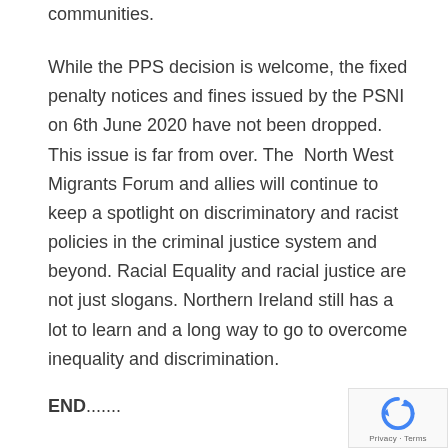communities.
While the PPS decision is welcome, the fixed penalty notices and fines issued by the PSNI on 6th June 2020 have not been dropped. This issue is far from over. The  North West Migrants Forum and allies will continue to keep a spotlight on discriminatory and racist policies in the criminal justice system and beyond. Racial Equality and racial justice are not just slogans. Northern Ireland still has a lot to learn and a long way to go to overcome inequality and discrimination.
END.......